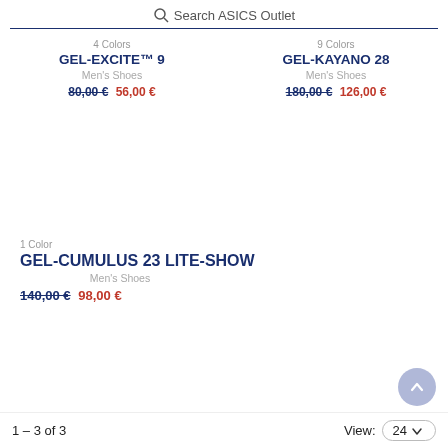Search ASICS Outlet
4 Colors
GEL-EXCITE™ 9
Men's Shoes
80,00 € 56,00 €
9 Colors
GEL-KAYANO 28
Men's Shoes
180,00 € 126,00 €
1 Color
GEL-CUMULUS 23 LITE-SHOW
Men's Shoes
140,00 € 98,00 €
1 – 3 of 3   View: 24